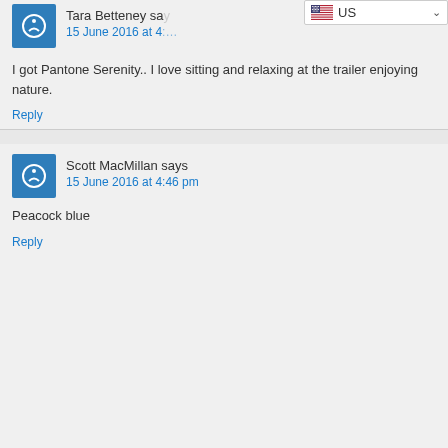Tara Betteney says
15 June 2016 at (time)
I got Pantone Serenity.. I love sitting and relaxing at the trailer enjoying nature.
Reply
Scott MacMillan says
15 June 2016 at 4:46 pm
Peacock blue
Reply